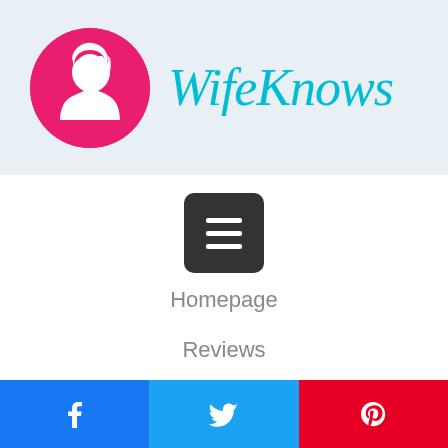[Figure (logo): WifeKnows logo: pink circle with white female silhouette, and cursive cyan text 'WifeKnows']
[Figure (other): Dark gray hamburger menu button with three white horizontal lines]
Homepage
Reviews
About Us
Privacy Policy
[Figure (other): Three social share buttons: Facebook (blue), Twitter (cyan), Pinterest (red)]